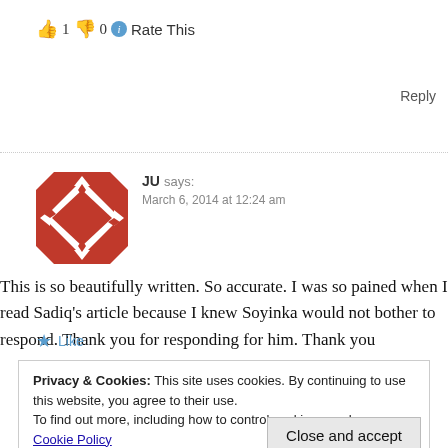👍 1 👎 0 ℹ Rate This
Reply
JU says:
March 6, 2014 at 12:24 am
This is so beautifully written. So accurate. I was so pained when I read Sadiq's article because I knew Soyinka would not bother to respond. Thank you for responding for him. Thank you
Like
Privacy & Cookies: This site uses cookies. By continuing to use this website, you agree to their use.
To find out more, including how to control cookies, see here: Cookie Policy
Close and accept